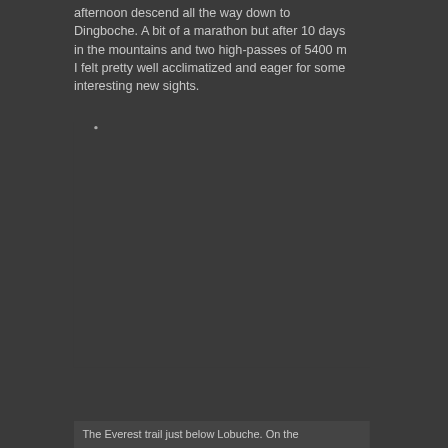afternoon descend all the way down to Dingboche. A bit of a marathon but after 10 days in the mountains and two high-passes of 5400 m I felt pretty well acclimatized and eager for some interesting new sights.
[Figure (photo): A large dark/loading image area occupying most of the page center with a small loading indicator dot visible]
The Everest trail just below Lobuche. On the